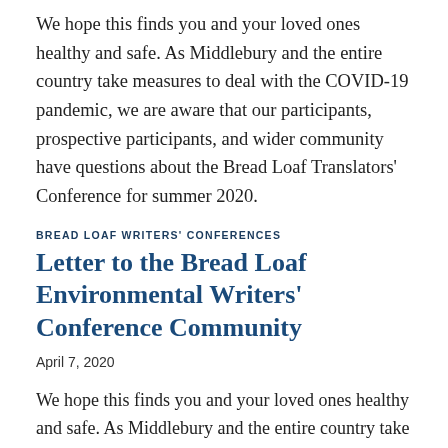We hope this finds you and your loved ones healthy and safe. As Middlebury and the entire country take measures to deal with the COVID-19 pandemic, we are aware that our participants, prospective participants, and wider community have questions about the Bread Loaf Translators' Conference for summer 2020.
BREAD LOAF WRITERS' CONFERENCES
Letter to the Bread Loaf Environmental Writers' Conference Community
April 7, 2020
We hope this finds you and your loved ones healthy and safe. As Middlebury and the entire country take measures to deal with the COVID-19 pandemic, we are aware that our participants, prospective participants, and wider community have questions about the